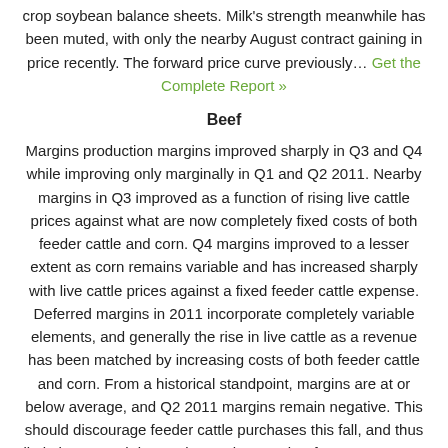crop soybean balance sheets. Milk's strength meanwhile has been muted, with only the nearby August contract gaining in price recently. The forward price curve previously… Get the Complete Report »
Beef
Margins production margins improved sharply in Q3 and Q4 while improving only marginally in Q1 and Q2 2011. Nearby margins in Q3 improved as a function of rising live cattle prices against what are now completely fixed costs of both feeder cattle and corn. Q4 margins improved to a lesser extent as corn remains variable and has increased sharply with live cattle prices against a fixed feeder cattle expense. Deferred margins in 2011 incorporate completely variable elements, and generally the rise in live cattle as a revenue has been matched by increasing costs of both feeder cattle and corn. From a historical standpoint, margins are at or below average, and Q2 2011 margins remain negative. This should discourage feeder cattle purchases this fall, and thus limit the strength in October and November futures contracts unless this margin relationship… Get the Complete Report »
Corn
New-crop margins improved significantly over the past two weeks, as futures prices have surged following the June 30 reports from the